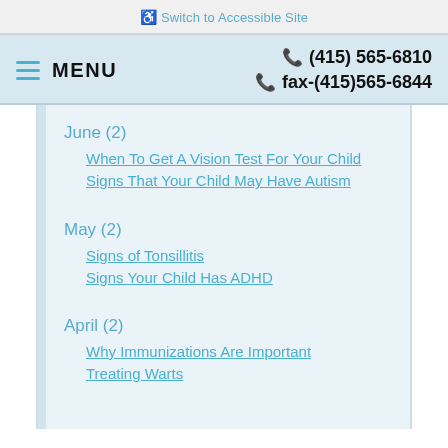♿ Switch to Accessible Site
≡ MENU   ☎ (415) 565-6810   ☎ fax-(415)565-6844
June (2)
When To Get A Vision Test For Your Child
Signs That Your Child May Have Autism
May (2)
Signs of Tonsillitis
Signs Your Child Has ADHD
April (2)
Why Immunizations Are Important
Treating Warts